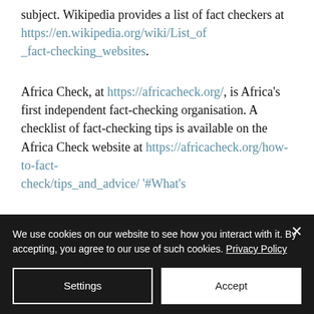subject. Wikipedia provides a list of fact checkers at https://en.wikipedia.org/wiki/List_of_fact-checking_websites.
Africa Check, at https://africacheck.org/, is Africa's first independent fact-checking organisation. A checklist of fact-checking tips is available on the Africa Check website at https://africacheck.org/how-to-fact-check/tips_and_advice/#What's
We use cookies on our website to see how you interact with it. By accepting, you agree to our use of such cookies. Privacy Policy